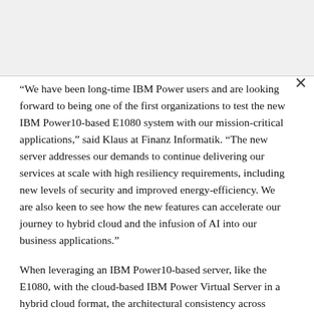“We have been long-time IBM Power users and are looking forward to being one of the first organizations to test the new IBM Power10-based E1080 system with our mission-critical applications,” said Klaus at Finanz Informatik. “The new server addresses our demands to continue delivering our services at scale with high resiliency requirements, including new levels of security and improved energy-efficiency. We are also keen to see how the new features can accelerate our journey to hybrid cloud and the infusion of AI into our business applications.”
When leveraging an IBM Power10-based server, like the E1080, with the cloud-based IBM Power Virtual Server in a hybrid cloud format, the architectural consistency across resources means the often-bespoke mission-critical applications that tend to reside on-premises can be moved into the cloud as workloads and needs demand. This is designed to